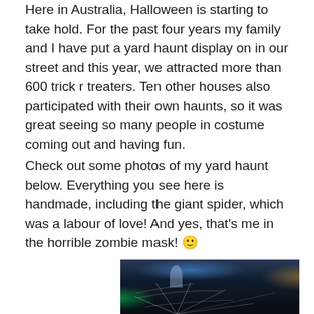Here in Australia, Halloween is starting to take hold. For the past four years my family and I have put a yard haunt display on in our street and this year, we attracted more than 600 trick r treaters. Ten other houses also participated with their own haunts, so it was great seeing so many people in costume coming out and having fun.
Check out some photos of my yard haunt below. Everything you see here is handmade, including the giant spider, which was a labour of love! And yes, that's me in the horrible zombie mask! 🙂
[Figure (photo): Night-time photo of a Halloween yard haunt display with blue lighting, ghost figures, orange warm glow on the right, green glow on the left, and white spider webs strung across structures.]